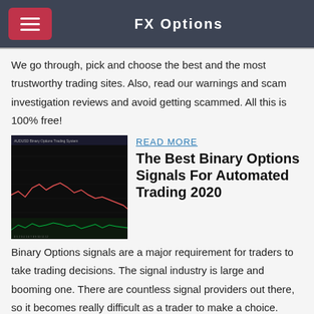FX Options
We go through, pick and choose the best and the most trustworthy trading sites. Also, read our warnings and scam investigation reviews and avoid getting scammed. All this is 100% free!
[Figure (screenshot): Trading chart screenshot showing candlestick/line chart with technical indicators on dark background]
READ MORE
The Best Binary Options Signals For Automated Trading 2020
Binary Options signals are a major requirement for traders to take trading decisions. The signal industry is large and booming one. There are countless signal providers out there, so it becomes really difficult as a trader to make a choice.
[Figure (screenshot): Binary options signals screenshot on dark background showing trading signals with arrows]
READ MORE
Best Binary Options Signals